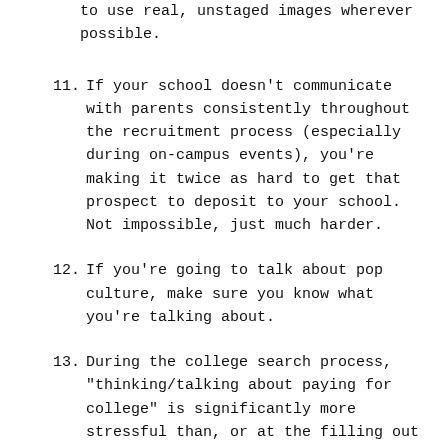to use real, unstaged images wherever possible.
11. If your school doesn't communicate with parents consistently throughout the recruitment process (especially during on-campus events), you're making it twice as hard to get that prospect to deposit to your school. Not impossible, just much harder.
12. If you're going to talk about pop culture, make sure you know what you're talking about.
13. During the college search process, "thinking/talking about paying for college" is significantly more stressful than, or at the filling out...